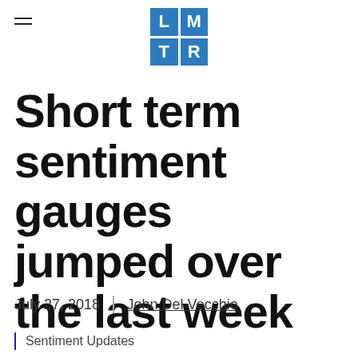LMTR logo with hamburger menu
Short term sentiment gauges jumped over the last week
July 27, 2018  |  John Del Vecchio
Sentiment Updates